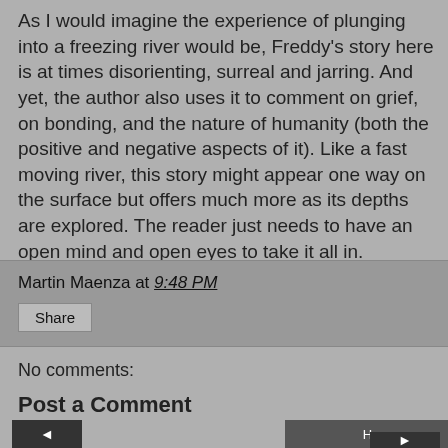As I would imagine the experience of plunging into a freezing river would be, Freddy's story here is at times disorienting, surreal and jarring. And yet, the author also uses it to comment on grief, on bonding, and the nature of humanity (both the positive and negative aspects of it). Like a fast moving river, this story might appear one way on the surface but offers much more as its depths are explored. The reader just needs to have an open mind and open eyes to take it all in.
Martin Maenza at 9:48 PM
Share
No comments:
Post a Comment